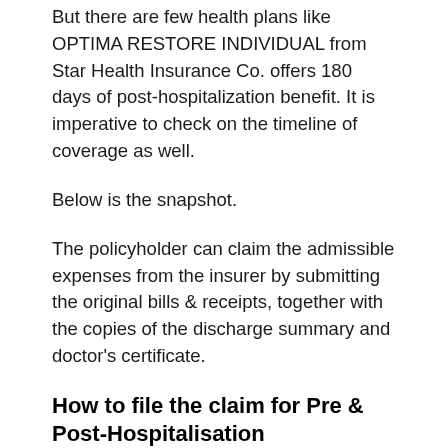But there are few health plans like OPTIMA RESTORE INDIVIDUAL from Star Health Insurance Co. offers 180 days of post-hospitalization benefit. It is imperative to check on the timeline of coverage as well.
Below is the snapshot.
The policyholder can claim the admissible expenses from the insurer by submitting the original bills & receipts, together with the copies of the discharge summary and doctor's certificate.
How to file the claim for Pre & Post-Hospitalisation
In the first follow-up at the doctor's